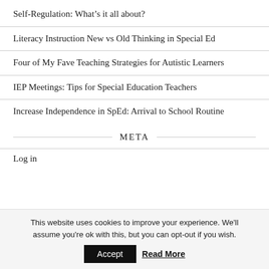Self-Regulation: What’s it all about?
Literacy Instruction New vs Old Thinking in Special Ed
Four of My Fave Teaching Strategies for Autistic Learners
IEP Meetings: Tips for Special Education Teachers
Increase Independence in SpEd: Arrival to School Routine
META
Log in
This website uses cookies to improve your experience. We'll assume you're ok with this, but you can opt-out if you wish.
Accept  Read More